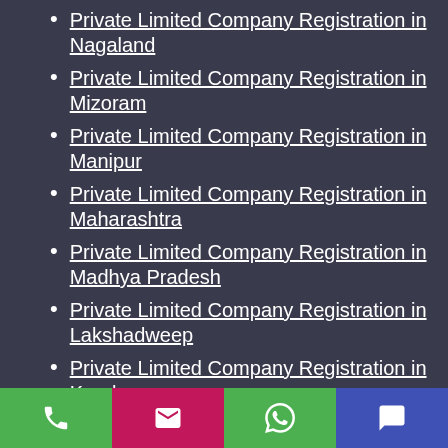Private Limited Company Registration in Nagaland
Private Limited Company Registration in Mizoram
Private Limited Company Registration in Manipur
Private Limited Company Registration in Maharashtra
Private Limited Company Registration in Madhya Pradesh
Private Limited Company Registration in Lakshadweep
Private Limited Company Registration in Kerala
Private Limited Company Registration in Karnataka
Private Limited Company Registration in Jharkhand